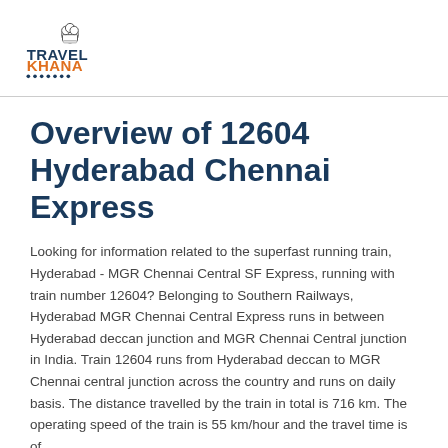[Figure (logo): TravelKhana logo with chef hat icon above text. 'TRAVEL' in dark teal/navy bold, 'KHANA' in orange bold, with decorative dots beneath forming a train-like row.]
Overview of 12604 Hyderabad Chennai Express
Looking for information related to the superfast running train, Hyderabad - MGR Chennai Central SF Express, running with train number 12604? Belonging to Southern Railways, Hyderabad MGR Chennai Central Express runs in between Hyderabad deccan junction and MGR Chennai Central junction in India. Train 12604 runs from Hyderabad deccan to MGR Chennai central junction across the country and runs on daily basis. The distance travelled by the train in total is 716 km. The operating speed of the train is 55 km/hour and the travel time is of